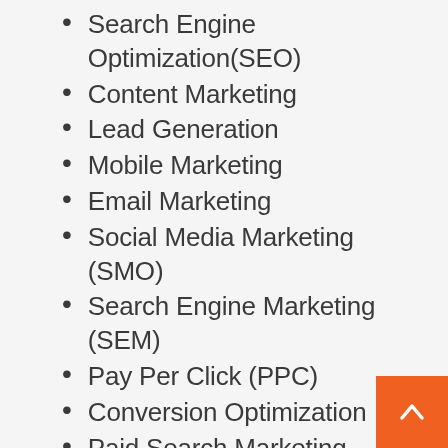Search Engine Optimization(SEO)
Content Marketing
Lead Generation
Mobile Marketing
Email Marketing
Social Media Marketing (SMO)
Search Engine Marketing (SEM)
Pay Per Click (PPC)
Conversion Optimization
Paid Search Marketing
Affiliate Marketing
Paid Social Marketing